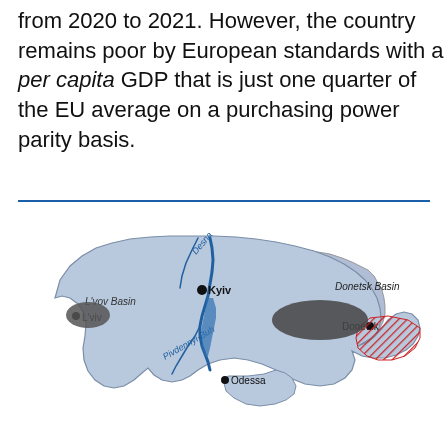from 2020 to 2021. However, the country remains poor by European standards with a per capita GDP that is just one quarter of the EU average on a purchasing power parity basis.
[Figure (map): Map of Ukraine showing major cities (Kyiv, L'viv, Odessa, Donetsk), river systems (Desna, Pivdennyi-Buh), and labeled regions (L'vov Basin, Donetsk Basin). The Donetsk/eastern region is highlighted with red hatching indicating conflict zone. Dark grey shapes overlay parts of the map (redacted areas). Major rivers are shown in blue.]